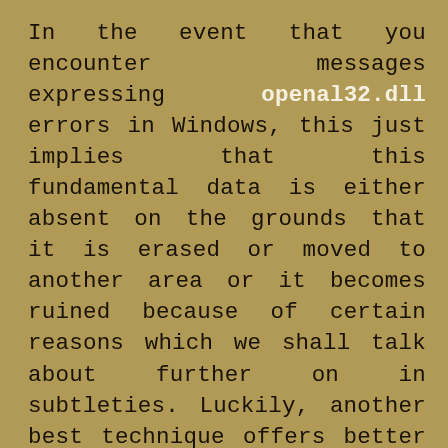In the event that you encounter messages expressing openal32.dll errors in Windows, this just implies that this fundamental data is either absent on the grounds that it is erased or moved to another area or it becomes ruined because of certain reasons which we shall talk about further on in subtleties. Luckily, another best technique offers better answer for this issue on the most proficient method to make dll error fix and that is to utilize acceptable registry cleaner since this instrument has highlights which can resolve this sort of issue via consequently supplanting the debased files with new ones and spot them at its appropriate area. In some cases the